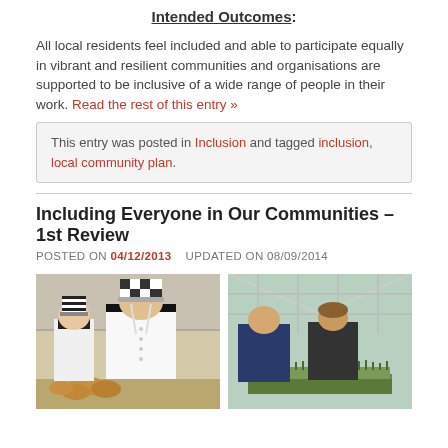Intended Outcomes:
All local residents feel included and able to participate equally in vibrant and resilient communities and organisations are supported to be inclusive of a wide range of people in their work. Read the rest of this entry »
This entry was posted in Inclusion and tagged inclusion, local community plan.
Including Everyone in Our Communities – 1st Review
POSTED ON 04/12/2013   UPDATED ON 08/09/2014
[Figure (photo): Two people in chef whites and checkered hats preparing food in a kitchen, with bread rolls visible on the counter.]
[Figure (photo): Two people working in a greenhouse, tending to plants in trays.]